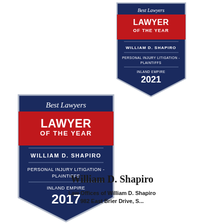[Figure (logo): Best Lawyers - Lawyer of the Year 2021 badge for William D. Shapiro, Personal Injury Litigation - Plaintiffs, Inland Empire]
[Figure (logo): Best Lawyers - Lawyer of the Year 2017 badge for William D. Shapiro, Personal Injury Litigation - Plaintiffs, Inland Empire]
William D. Shapiro
Law Offices of William D. Shapiro
982 East Brier Drive, S...